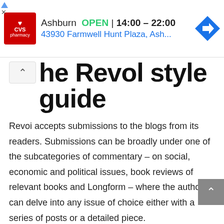[Figure (infographic): CVS Pharmacy ad banner showing Ashburn location: OPEN 14:00 - 22:00, address 43930 Farmwell Hunt Plaza, Ash...]
he Revol style guide
Revoi accepts submissions to the blogs from its readers. Submissions can be broadly under one of the subcategories of commentary – on social, economic and political issues, book reviews of relevant books and Longform – where the author can delve into any issue of choice either with a series of posts or a detailed piece.
Contributors are requested to follow the Revoi style guide posted here. Compliance with the style guide will help us greatly in ensuring error-free posts with a consistent and